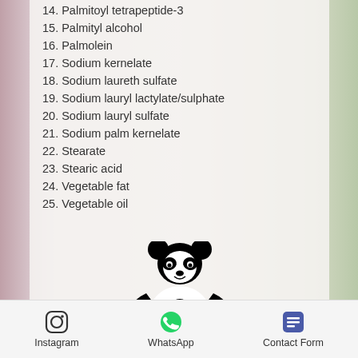14. Palmitoyl tetrapeptide-3
15. Palmityl alcohol
16. Palmolein
17. Sodium kernelate
18. Sodium laureth sulfate
19. Sodium lauryl lactylate/sulphate
20. Sodium lauryl sulfate
21. Sodium palm kernelate
22. Stearate
23. Stearic acid
24. Vegetable fat
25. Vegetable oil
[Figure (logo): WWF panda logo — black and white panda bear silhouette]
Instagram   WhatsApp   Contact Form